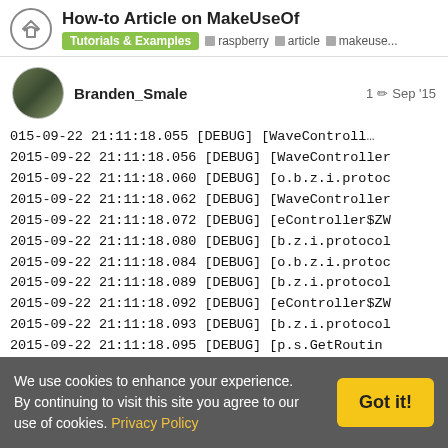How-to Article on MakeUseOf | Tutorials & Examples | raspberry | article | makeuse...
Branden_Smale   1   Sep '15
015-09-22 21:11:18.055 [DEBUG] [WaveControll...
2015-09-22 21:11:18.056 [DEBUG] [WaveController...
2015-09-22 21:11:18.060 [DEBUG] [o.b.z.i.proto...
2015-09-22 21:11:18.062 [DEBUG] [WaveController...
2015-09-22 21:11:18.072 [DEBUG] [eController$ZW...
2015-09-22 21:11:18.080 [DEBUG] [b.z.i.protocol...
2015-09-22 21:11:18.084 [DEBUG] [o.b.z.i.protoc...
2015-09-22 21:11:18.089 [DEBUG] [b.z.i.protocol...
2015-09-22 21:11:18.092 [DEBUG] [eController$ZW...
2015-09-22 21:11:18.093 [DEBUG] [b.z.i.protocol...
2015-09-22 21:11:18.095 [DEBUG] [p.s.GetRoutin...
We use cookies to enhance your experience. By continuing to visit this site you agree to our use of cookies. Privacy Policy   Got it!